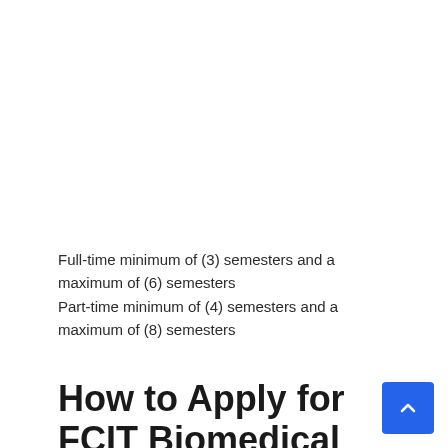Full-time minimum of (3) semesters and a maximum of (6) semesters
Part-time minimum of (4) semesters and a maximum of (8) semesters
How to Apply for FCIT Biomedical